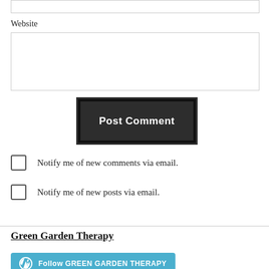Website
[Figure (screenshot): Post Comment button — dark/black background with white bold text]
Notify me of new comments via email.
Notify me of new posts via email.
Green Garden Therapy
[Figure (infographic): Follow GREEN GARDEN THERAPY button with WordPress logo icon on teal/blue background]